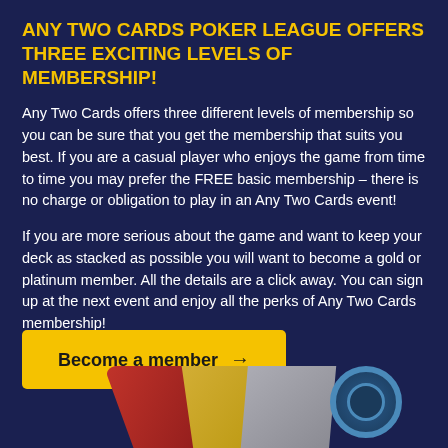ANY TWO CARDS POKER LEAGUE OFFERS THREE EXCITING LEVELS OF MEMBERSHIP!
Any Two Cards offers three different levels of membership so you can be sure that you get the membership that suits you best. If you are a casual player who enjoys the game from time to time you may prefer the FREE basic membership – there is no charge or obligation to play in an Any Two Cards event!
If you are more serious about the game and want to keep your deck as stacked as possible you will want to become a gold or platinum member. All the details are a click away. You can sign up at the next event and enjoy all the perks of Any Two Cards membership!
[Figure (illustration): Yellow call-to-action button reading 'Become a member →' on dark navy background]
[Figure (illustration): Playing cards (red, gold, silver) fanned out with a blue poker chip, partially visible at bottom of page]